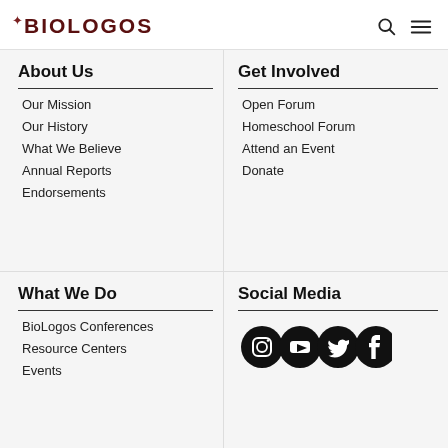BioLogos
About Us
Our Mission
Our History
What We Believe
Annual Reports
Endorsements
Get Involved
Open Forum
Homeschool Forum
Attend an Event
Donate
What We Do
BioLogos Conferences
Resource Centers
Events
Social Media
[Figure (other): Social media icons: Instagram, YouTube, Twitter, Facebook]